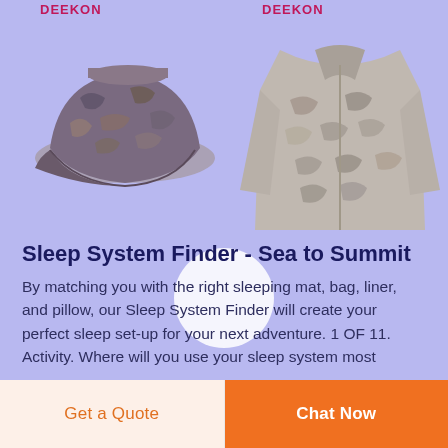[Figure (photo): Two product images on a lavender/periwinkle background: left side shows a camouflage military-style cap with 'DEEKON' brand label above it; right side shows a long-sleeve camouflage patterned shirt/jacket with 'DEEKON' brand label above it. A white circle UI button element is centered lower in the image area.]
Sleep System Finder - Sea to Summit
By matching you with the right sleeping mat, bag, liner, and pillow, our Sleep System Finder will create your perfect sleep set-up for your next adventure. 1 OF 11. Activity. Where will you use your sleep system most
Get a Quote
Chat Now